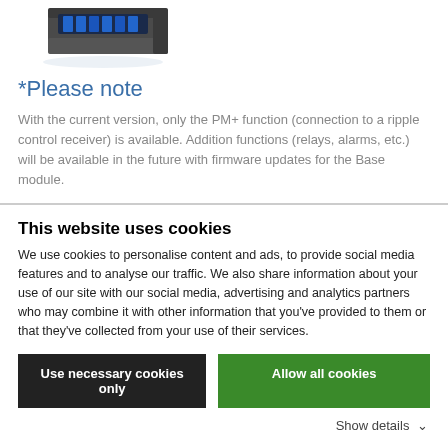[Figure (photo): Electronic device/module with cable connectors, photographed from above at slight angle, showing blue cables and gray housing.]
*Please note
With the current version, only the PM+ function (connection to a ripple control receiver) is available. Addition functions (relays, alarms, etc.) will be available in the future with firmware updates for the Base module.
This website uses cookies
We use cookies to personalise content and ads, to provide social media features and to analyse our traffic. We also share information about your use of our site with our social media, advertising and analytics partners who may combine it with other information that you've provided to them or that they've collected from your use of their services.
Use necessary cookies only
Allow all cookies
Show details